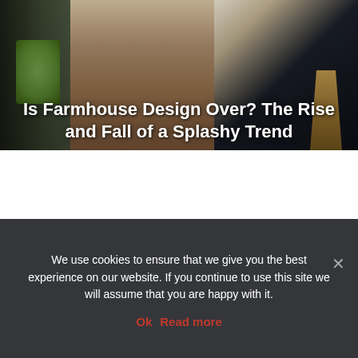[Figure (photo): Interior/exterior farmhouse design photo showing a dark-framed glass door with garden view on the left, terracotta hallway floor in the center, and dark navy kitchen cabinetry with a wooden stool on the right. Overlaid with article title text.]
Is Farmhouse Design Over? The Rise and Fall of a Splashy Trend
[Figure (photo): Modern minimalist kitchen interior in white and grey tones, showing a blurred silhouette of a person on the left, white overhead cabinets with pendant lights, a light-colored shelf with small decor items, and stainless steel appliances on the right.]
We use cookies to ensure that we give you the best experience on our website. If you continue to use this site we will assume that you are happy with it.
Ok   Read more